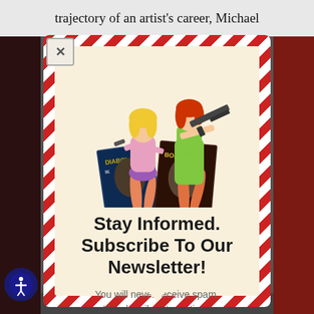trajectory of an artist's career, Michael
[Figure (illustration): Two illustrated women holding weapons (one with a pistol, one with a machine gun) standing over comic book covers labeled 'Diabolik' and 'Bolique']
Stay Informed. Subscribe To Our Newsletter!
You will never receive spam. Unsubscribe at any time.